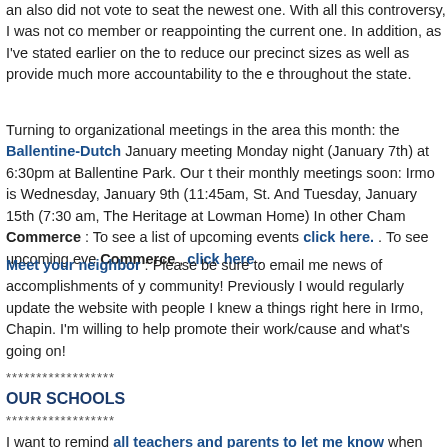an also did not vote to seat the newest one. With all this controversy, I was not c member or reappointing the current one. In addition, as I've stated earlier on the to reduce our precinct sizes as well as provide much more accountability to the e throughout the state.
Turning to organizational meetings in the area this month: the Ballentine-Dutch January meeting Monday night (January 7th) at 6:30pm at Ballentine Park. Our t their monthly meetings soon: Irmo is Wednesday, January 9th (11:45am, St. And Tuesday, January 15th (7:30 am, The Heritage at Lowman Home) In other Cham Commerce : To see a list of upcoming events click here. . To see upcoming eve Commerce , click here .
Meet your neighbor : Please be sure to email me news of accomplishments of y community! Previously I would regularly update the website with people I knew a things right here in Irmo, Chapin. I'm willing to help promote their work/cause and what's going on!
******************
OUR SCHOOLS
******************
I want to remind all teachers and parents to let me know when your child/class year! I know Rep. Huggins and I will again be welcoming the Chapin High cheer Championship but we also like to visit with all the 3rd graders and other groups th